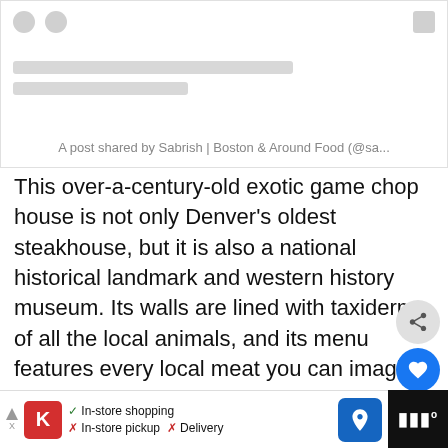[Figure (screenshot): Instagram embed placeholder with heart and comment icons, skeleton loading bars, and caption 'A post shared by Sabrish | Boston & Around Food (@sa...']
This over-a-century-old exotic game chop house is not only Denver's oldest steakhouse, but it is also a national historical landmark and western history museum. Its walls are lined with taxidermy of all the local animals, and its menu features every local meat you can imagine, incl g elk, deer, lamb, buffalo, rattlesnake, and alligator tail
Buckhorn Exchange is an essential wild west experience for
[Figure (screenshot): What's Next panel showing '18 Fast Food Restaurants...' with thumbnail]
[Figure (screenshot): Ad banner: King Soopers ad with In-store shopping checkmark, In-store pickup X, Delivery X, navigation icon, and black bar with sound icon]